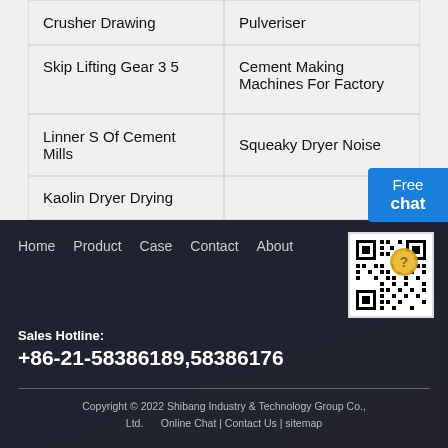Crusher Drawing
Pulveriser
Skip Lifting Gear 3 5
Cement Making Machines For Factory
Linner S Of Cement Mills
Squeaky Dryer Noise
Kaolin Dryer Drying
[Figure (other): Free chat button with person illustration]
Home  Product  Case  Contact  About
Sales Hotline:
+86-21-58386189,58386176
Copyright © 2022 Shibang Industry & Technology Group Co., Ltd.  Online Chat | Contact Us | sitemap
[Figure (other): QR code with gold coin overlay in footer]